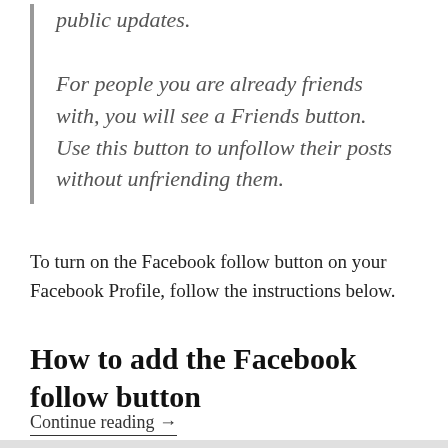public updates. For people you are already friends with, you will see a Friends button. Use this button to unfollow their posts without unfriending them.
To turn on the Facebook follow button on your Facebook Profile, follow the instructions below.
How to add the Facebook follow button
Continue reading →